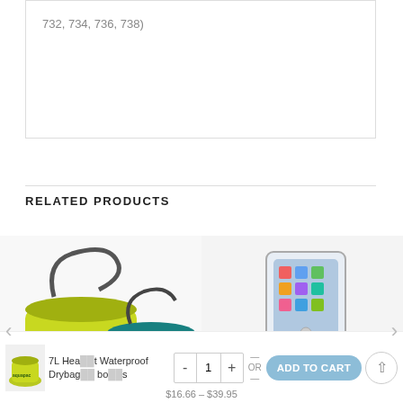732, 734, 736, 738)
RELATED PRODUCTS
[Figure (photo): Two Aquapac waterproof drybags — one yellow-green and one teal/blue — with shoulder straps, on a white background]
[Figure (photo): Waterproof phone/bike mount case holding a white iPhone, with green accent and black mounting hardware]
DRYBAGS
PHONES
7L Hea  t Waterproof Drybag   bo   s
Wate  ally   ag
$16.66 – $39.95